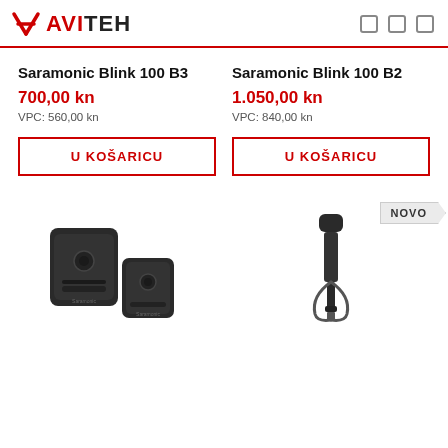AVITEH
Saramonic Blink 100 B3
700,00 kn
VPC: 560,00 kn
U KOŠARICU
Saramonic Blink 100 B2
1.050,00 kn
VPC: 840,00 kn
U KOŠARICU
NOVO
[Figure (photo): Saramonic Blink 100 B3 product - two small black wireless microphone units]
[Figure (photo): Saramonic Blink 100 B2 product - black cable/microphone accessory]